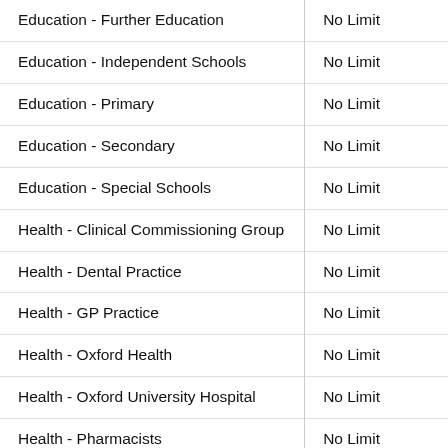| Category | Limit |
| --- | --- |
| Education - Further Education | No Limit |
| Education - Independent Schools | No Limit |
| Education - Primary | No Limit |
| Education - Secondary | No Limit |
| Education - Special Schools | No Limit |
| Health - Clinical Commissioning Group | No Limit |
| Health - Dental Practice | No Limit |
| Health - GP Practice | No Limit |
| Health - Oxford Health | No Limit |
| Health - Oxford University Hospital | No Limit |
| Health - Pharmacists | No Limit |
| HOTEL STAFF | 0 |
| Housing Association | No Limit |